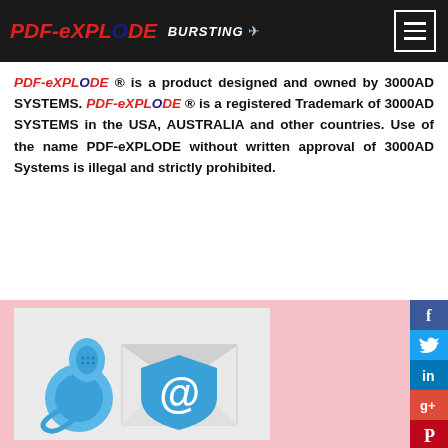PDF-eXPLODE BURSTING [logo with menu button]
PDF-eXPLODE ® is a product designed and owned by 3000AD SYSTEMS. PDF-eXPLODE ® is a registered Trademark of 3000AD SYSTEMS in the USA, AUSTRALIA and other countries. Use of the name PDF-eXPLODE without written approval of 3000AD Systems is illegal and strictly prohibited.
[Figure (illustration): Contact illustration showing a blue telephone handset and an envelope with a blue shield containing an @ symbol, set against a pink background with social media sharing buttons (Facebook, Twitter, LinkedIn, Google+, Pinterest) on the right side.]